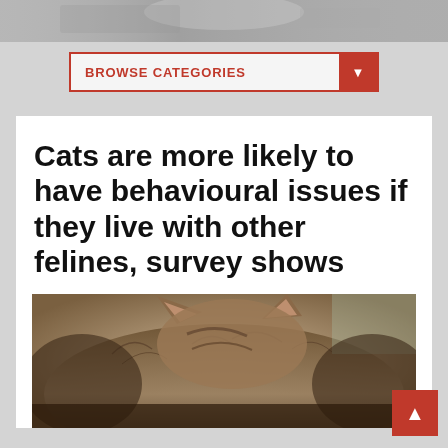[Figure (photo): Blurred grayscale header background photo showing a car or vehicle scene]
BROWSE CATEGORIES ▼
Cats are more likely to have behavioural issues if they live with other felines, survey shows
[Figure (photo): Close-up photo of a fluffy tabby cat with prominent ears, photographed from above/behind]